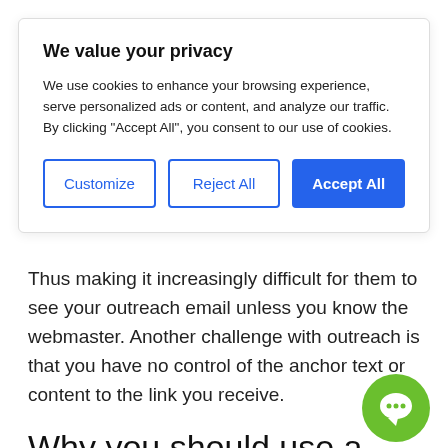We value your privacy
We use cookies to enhance your browsing experience, serve personalized ads or content, and analyze our traffic. By clicking "Accept All", you consent to our use of cookies.
Thus making it increasingly difficult for them to see your outreach email unless you know the webmaster. Another challenge with outreach is that you have no control of the anchor text or content to the link you receive.
Why you should use a Private Blog Network